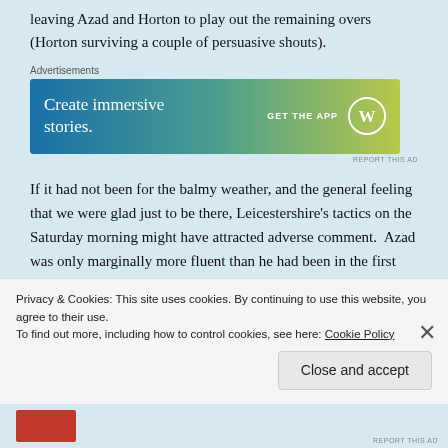leaving Azad and Horton to play out the remaining overs (Horton surviving a couple of persuasive shouts).
[Figure (other): WordPress advertisement banner: 'Create immersive stories. GET THE APP' with WordPress logo on gradient blue-green-yellow background]
If it had not been for the balmy weather, and the general feeling that we were glad just to be there, Leicestershire's tactics on the Saturday morning might have attracted adverse comment.  Azad was only marginally more fluent than he had been in the first
Privacy & Cookies: This site uses cookies. By continuing to use this website, you agree to their use.
To find out more, including how to control cookies, see here: Cookie Policy
Close and accept